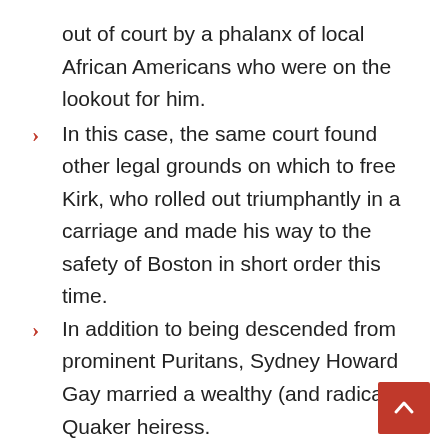out of court by a phalanx of local African Americans who were on the lookout for him.
In this case, the same court found other legal grounds on which to free Kirk, who rolled out triumphantly in a carriage and made his way to the safety of Boston in short order this time.
In addition to being descended from prominent Puritans, Sydney Howard Gay married a wealthy (and radical) Quaker heiress.
Co-conspirator Louis Napoleon, who is thought to be the freeborn son of a Jewish New Yorker and an African